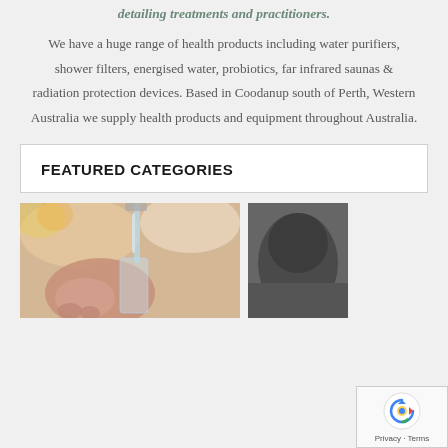detailing treatments and practitioners.
We have a huge range of health products including water purifiers, shower filters, energised water, probiotics, far infrared saunas & radiation protection devices. Based in Coodanup south of Perth, Western Australia we supply health products and equipment throughout Australia.
FEATURED CATEGORIES
[Figure (photo): Photo of a hand holding a glass under a water tap/faucet with water streaming into the glass]
[Figure (photo): Partial photo showing a dark product, partially visible on right side of page]
[Figure (other): reCAPTCHA widget overlay with recycle/arrows icon and Privacy - Terms text]